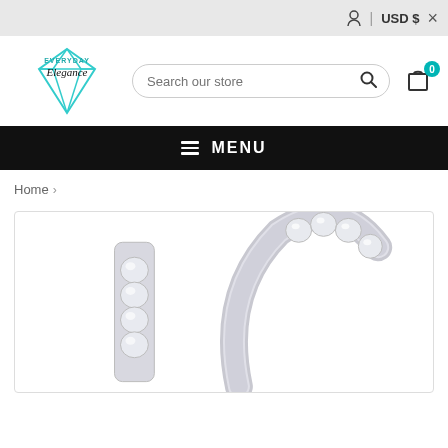USD $  ×
[Figure (logo): Everyday Elegance jewelry store logo: teal diamond outline with 'EVERYDAY Elegance' text]
Search our store
[Figure (infographic): Shopping cart icon with teal badge showing 0]
☰  MENU
Home  ›
[Figure (photo): Two silver diamond-encrusted jewelry pieces (likely earrings or ring bands) shown close-up with cubic zirconia stones, white background]